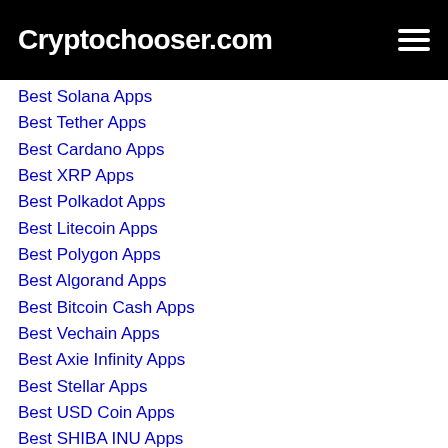Cryptochooser.com
Best Solana Apps
Best Tether Apps
Best Cardano Apps
Best XRP Apps
Best Polkadot Apps
Best Litecoin Apps
Best Polygon Apps
Best Algorand Apps
Best Bitcoin Cash Apps
Best Vechain Apps
Best Axie Infinity Apps
Best Stellar Apps
Best USD Coin Apps
Best SHIBA INU Apps
Best Terra Apps
Best Avalanche Apps
Best Uniswap Apps
Best Chainlink Apps
Best Wrapped Bitcoin Apps